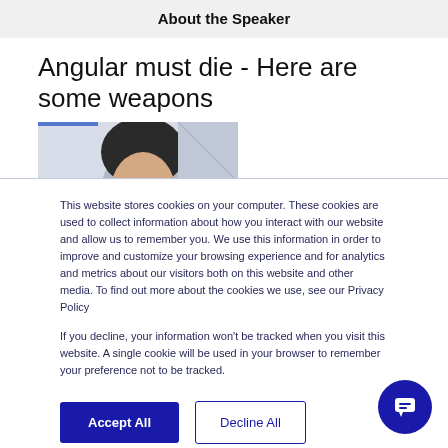About the Speaker
Angular must die - Here are some weapons
[Figure (photo): Partial photo of a speaker's head/face, partially cropped]
This website stores cookies on your computer. These cookies are used to collect information about how you interact with our website and allow us to remember you. We use this information in order to improve and customize your browsing experience and for analytics and metrics about our visitors both on this website and other media. To find out more about the cookies we use, see our Privacy Policy
If you decline, your information won't be tracked when you visit this website. A single cookie will be used in your browser to remember your preference not to be tracked.
Accept All
Decline All